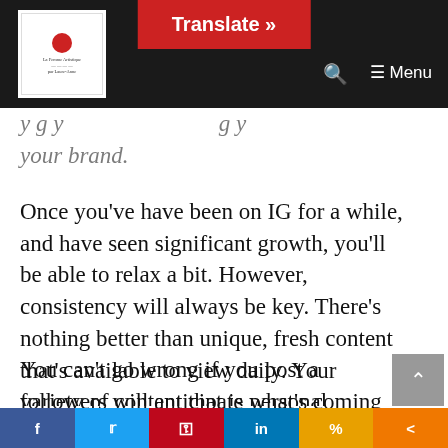Translate » [search] Menu
y  g  y                    g  y your brand.
Once you’ve have been on IG for a while, and have seen significant growth, you’ll be able to relax a bit. However,  consistency will always be key. There’s nothing better than unique, fresh content that’s available to view daily. Your followers will anticipate what’s coming next.
You can’t go wrong if you post a variety of content that is personal, entertaining, motivational, educational, and thought-
f  t  p  in  %  <